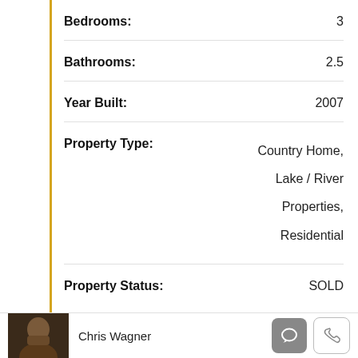| Property Detail | Value |
| --- | --- |
| Bedrooms: | 3 |
| Bathrooms: | 2.5 |
| Year Built: | 2007 |
| Property Type: | Country Home, Lake / River Properties, Residential |
| Property Status: | SOLD |
Chris Wagner